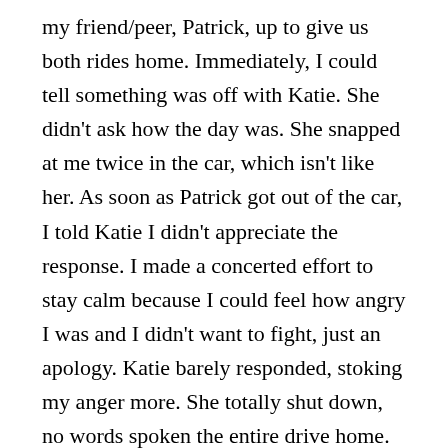my friend/peer, Patrick, up to give us both rides home. Immediately, I could tell something was off with Katie. She didn't ask how the day was. She snapped at me twice in the car, which isn't like her. As soon as Patrick got out of the car, I told Katie I didn't appreciate the response. I made a concerted effort to stay calm because I could feel how angry I was and I didn't want to fight, just an apology. Katie barely responded, stoking my anger more. She totally shut down, no words spoken the entire drive home.
As she parked the car and turned the engine off, I asked her what was going on. Katie couldn't tell me. She said she was really down all day, stayed in bed until 3:30pm, didn't do any of the errands we needed done. In